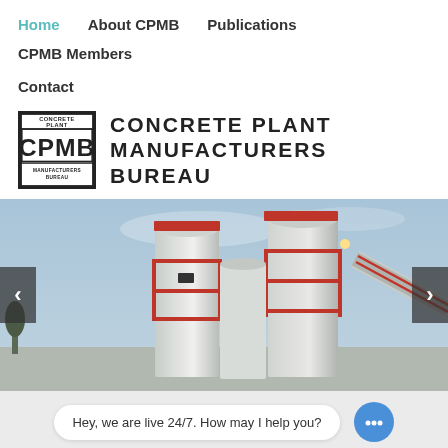Home  About CPMB  Publications  CPMB Members  Contact
[Figure (logo): Concrete Plant Manufacturers Bureau (CPMB) logo with text]
[Figure (photo): Industrial concrete plant with large white silos, red metal framework, and conveyor belts against a blue-grey sky. Navigation arrows on left and right sides.]
Hey, we are live 24/7. How may I help you?
aggregate and